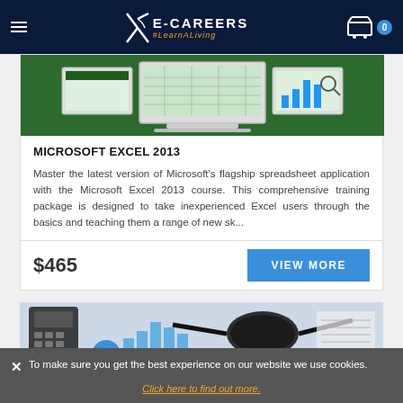E-CAREERS #LearnALiving
[Figure (screenshot): Microsoft Excel 2013 course banner with laptop and spreadsheet graphics on green background]
MICROSOFT EXCEL 2013
Master the latest version of Microsoft's flagship spreadsheet application with the Microsoft Excel 2013 course. This comprehensive training package is designed to take inexperienced Excel users through the basics and teaching them a range of new sk...
$465
VIEW MORE
[Figure (photo): Partially visible second course card showing calculator, glasses, and bar chart graphics]
✕ To make sure you get the best experience on our website we use cookies.
Click here to find out more.